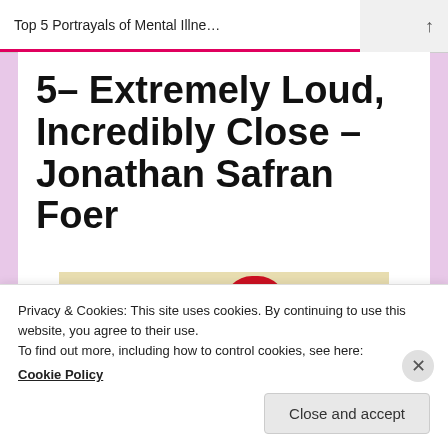Top 5 Portrayals of Mental Illne…
5– Extremely Loud, Incredibly Close – Jonathan Safran Foer
[Figure (photo): Book cover of 'Extremely Loud, Incredibly Close' by Jonathan Safran Foer — red finger-shaped letter blocks spelling out parts of the title on a cream/beige background]
Privacy & Cookies: This site uses cookies. By continuing to use this website, you agree to their use.
To find out more, including how to control cookies, see here: Cookie Policy
Close and accept